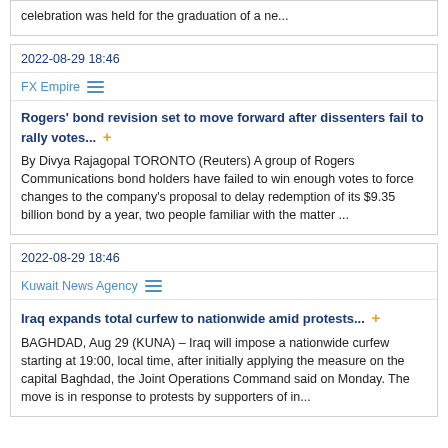celebration was held for the graduation of a ne...
2022-08-29 18:46
FX Empire
Rogers' bond revision set to move forward after dissenters fail to rally votes...
By Divya Rajagopal TORONTO (Reuters) A group of Rogers Communications bond holders have failed to win enough votes to force changes to the company's proposal to delay redemption of its $9.35 billion bond by a year, two people familiar with the matter ...
2022-08-29 18:46
Kuwait News Agency
Iraq expands total curfew to nationwide amid protests...
BAGHDAD, Aug 29 (KUNA) – Iraq will impose a nationwide curfew starting at 19:00, local time, after initially applying the measure on the capital Baghdad, the Joint Operations Command said on Monday. The move is in response to protests by supporters of in...